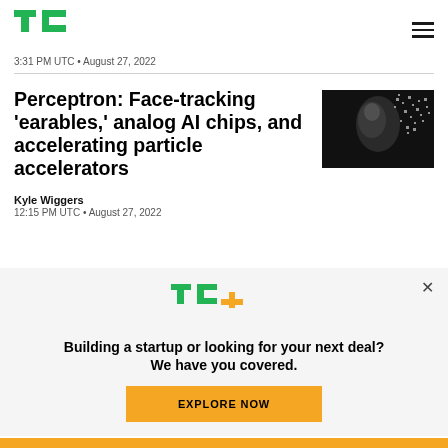TechCrunch logo and navigation
3:31 PM UTC • August 27, 2022
Perceptron: Face-tracking 'earables,' analog AI chips, and accelerating particle accelerators
[Figure (photo): Digital art image of a human face dissolving into pixels/particles on black background]
Kyle Wiggers
12:15 PM UTC • August 27, 2022
[Figure (logo): TechCrunch Plus (TC+) logo in green with yellow plus sign]
Building a startup or looking for your next deal? We have you covered.
EXPLORE NOW